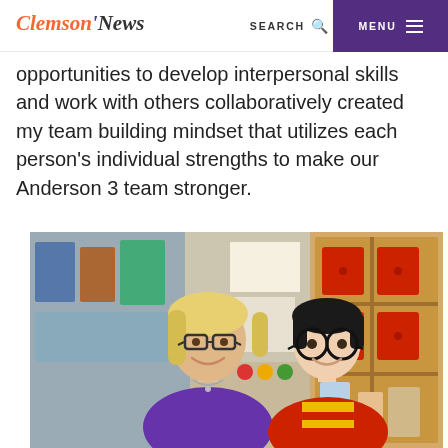Clemson News | SEARCH | MENU
opportunities to develop interpersonal skills and work with others collaboratively created my team building mindset that utilizes each person's individual strengths to make our Anderson 3 team stronger.
[Figure (photo): A smiling woman with blonde hair and dark-rimmed rectangular glasses, wearing a purple top and necklace, posing with a young boy dressed in a Harry Potter costume (round glasses and red/yellow Gryffindor scarf), in a colorful elementary school classroom with cubby shelves and red storage baskets visible in the background.]